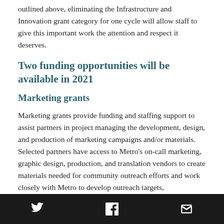outlined above, eliminating the Infrastructure and Innovation grant category for one cycle will allow staff to give this important work the attention and respect it deserves.
Two funding opportunities will be available in 2021
Marketing grants
Marketing grants provide funding and staffing support to assist partners in project managing the development, design, and production of marketing campaigns and/or materials. Selected partners have access to Metro's on-call marketing, graphic design, production, and translation vendors to create materials needed for community outreach efforts and work closely with Metro to develop outreach targets,
Twitter | Facebook | Email